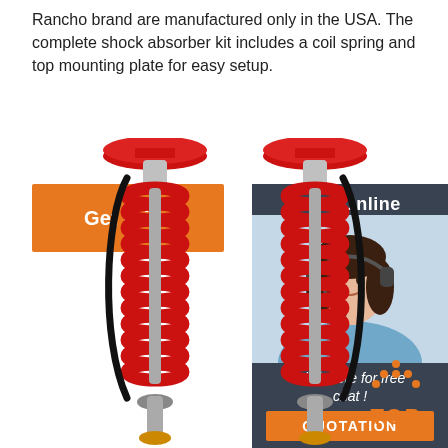Rancho brand are manufactured only in the USA. The complete shock absorber kit includes a coil spring and top mounting plate for easy setup.
[Figure (other): Orange 'Get Price' button]
[Figure (other): Dark gray chat box with '24/7 Online' header, photo of a smiling woman with headset, 'Click here for free chat!' text, and orange 'QUOTATION' button]
[Figure (photo): Two red Rancho coilover shock absorbers with coil springs side by side]
[Figure (other): Orange 'TOP' button with upward arrow dots icon]